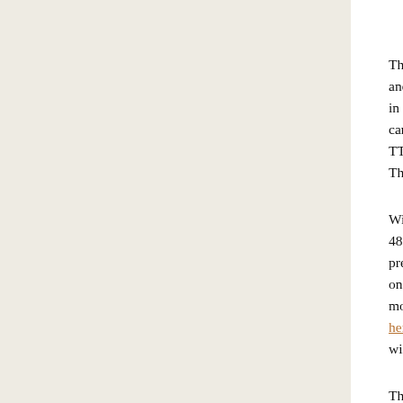The Sigma EF-530 DG Super and EF-610 DG Super, the Promaster 7500EDF, and the Tumax DPT3 series flash can be used as dumb slaves (simply flashing in response to another flash), but this requires another non-P-TTL flash on-camera, because otherwise they will be triggered before the exposure by the P-TTL preflash. Promaster also makes a slave module for the 5000-series flashes. This has the same limitation.
With a firmware from February 16, 2011 (or newer), the Metz models from the 48 AF-1 on up can act as what Metz calls "servo mode" slaves, where the initial preflash is ignored and the flash fires at a preset manual level when the main on-camera flash fires. This mode is enabled by putting the flash into SL + M mode — instructions for doing that with the 48 AF-1 or 50 AF-1 can be found here. Normally, one would use this with the on-camera flash not set for wireless.
The Tumax DPT5 series flash also has a